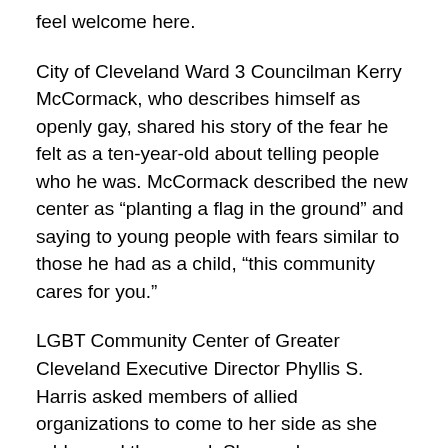feel welcome here.
City of Cleveland Ward 3 Councilman Kerry McCormack, who describes himself as openly gay, shared his story of the fear he felt as a ten-year-old about telling people who he was. McCormack described the new center as “planting a flag in the ground” and saying to young people with fears similar to those he had as a child, “this community cares for you.”
LGBT Community Center of Greater Cleveland Executive Director Phyllis S. Harris asked members of allied organizations to come to her side as she addressed the crowd. She read a poem about how those that have gone before you are part of your fabric. Harris noted the forty-four-year history of the LGBT Community Center at the Gordon Square Arcade, W. 29th Street and Coventry. She